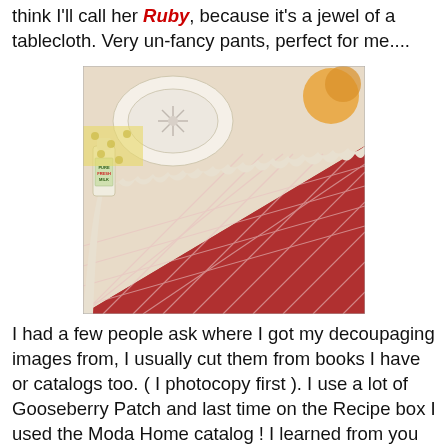think I'll call her Ruby, because it's a jewel of a tablecloth. Very un-fancy pants, perfect for me....
[Figure (photo): Photo of a red and white patterned tablecloth with ruffled cream trim, arranged on a table with decorative items including a small milk bottle and ornate dish.]
I had a few people ask where I got my decoupaging images from, I usually cut them from books I have or catalogs too. ( I photocopy first ). I use a lot of Gooseberry Patch and last time on the Recipe box I used the Moda Home catalog ! I learned from you decoupaging experts that they are called decoupaging "scraps" which, btw, made it a heck of a lot easier to google and find some! I just got this book below and figured I'd post it because it has the neatest Valentines and card making ideas too! So Gooseberry was good for 2 things this time!